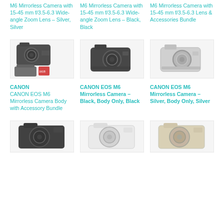M6 Mirrorless Camera with 15-45 mm f/3.5-6.3 Wide-angle Zoom Lens – Silver, Silver
M6 Mirrorless Camera with 15-45 mm f/3.5-6.3 Wide-angle Zoom Lens – Black, Black
M6 Mirrorless Camera with 15-45 mm f/3.5-6.3 Lens & Accessories Bundle
[Figure (photo): Canon EOS M6 mirrorless camera body with accessory bundle including bag and SD card]
[Figure (photo): Canon EOS M6 mirrorless camera body only, black]
[Figure (photo): Canon EOS M6 mirrorless camera body only, silver]
CANON CANON EOS M6 Mirrorless Camera Body with Accessory Bundle
CANON EOS M6 Mirrorless Camera – Black, Body Only, Black
CANON EOS M6 Mirrorless Camera – Silver, Body Only, Silver
[Figure (photo): Canon DSLR camera, black]
[Figure (photo): Canon DSLR camera, white]
[Figure (photo): Canon DSLR camera, silver/white]